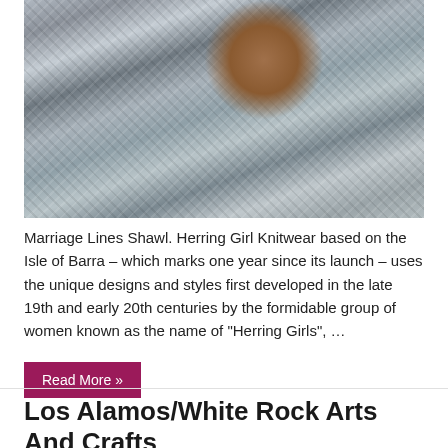[Figure (photo): Woman wearing a chunky knitted grey and white shawl, with long brown hair blowing in the wind against a grey sky background.]
Marriage Lines Shawl. Herring Girl Knitwear based on the Isle of Barra – which marks one year since its launch – uses the unique designs and styles first developed in the late 19th and early 20th centuries by the formidable group of women known as the name of "Herring Girls", …
Read More »
Los Alamos/White Rock Arts And Crafts